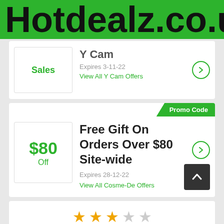Hotdealz.co.uk
Sales
Y Cam
Expires 3-11-22
View All Y Cam Offers
Promo Code
$80 Off
Free Gift On Orders Over $80 Site-wide
Expires 28-12-22
View All Cosme-De Offers
[Figure (other): Star rating: 3 out of 5 stars]